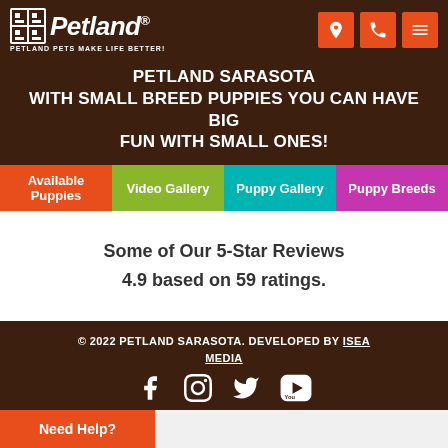Petland — Petland Pets Make Life Better!
PETLAND SARASOTA WITH SMALL BREED PUPPIES YOU CAN HAVE BIG FUN WITH SMALL ONES!
Available Puppies
Video Gallery
Puppy Gallery
Puppy Breeds
Some of Our 5-Star Reviews
4.9 based on 59 ratings.
© 2022 PETLAND SARASOTA. DEVELOPED BY ISEA MEDIA
Need Help?